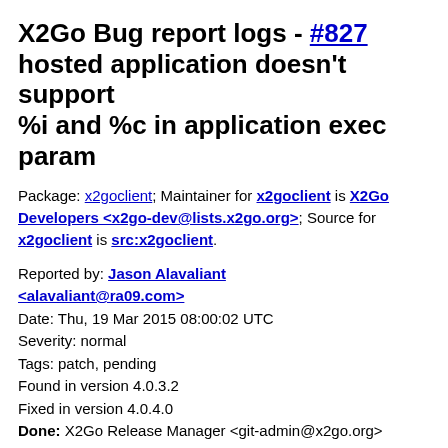X2Go Bug report logs - #827 hosted application doesn't support %i and %c in application exec param
Package: x2goclient; Maintainer for x2goclient is X2Go Developers <x2go-dev@lists.x2go.org>; Source for x2goclient is src:x2goclient.
Reported by: Jason Alavaliant <alavaliant@ra09.com>
Date: Thu, 19 Mar 2015 08:00:02 UTC
Severity: normal
Tags: patch, pending
Found in version 4.0.3.2
Fixed in version 4.0.4.0
Done: X2Go Release Manager <git-admin@x2go.org>
Bug is archived. No further changes may be made.
Toggle useless messages
View this report as an mbox folder, status mbox, maintainer mbox